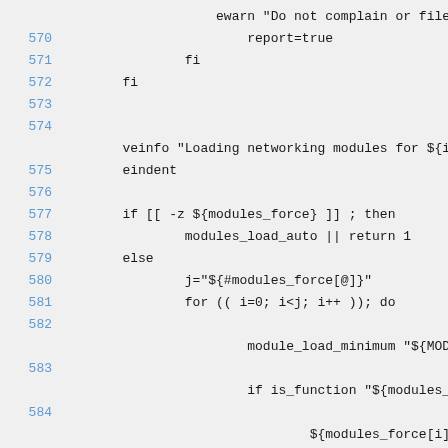Shell script source code lines 570-588 showing networking module loading logic
570: report=true
571:     fi
572:   fi
573:
574: veinfo "Loading networking modules for ${iface}"
575:     eindent
576:
577:     if [[ -z ${modules_force} ]] ; then
578:             modules_load_auto || return 1
579:     else
580:             j="${#modules_force[@]}"
581:             for (( i=0; i<j; i++ )); do
582:
                    module_load_minimum "${MODULES_D
583:
                    if is_function "${modules_force[
584:
                           ${modules_force[i]}_chec
585:                       fi
586:             done
587:             MODULES=
( "${modules_force[@]}" )
588:     fi